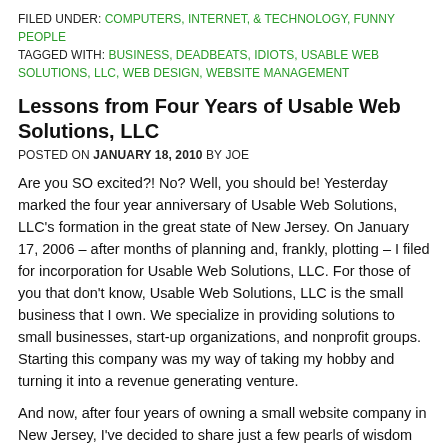FILED UNDER: COMPUTERS, INTERNET, & TECHNOLOGY, FUNNY PEOPLE
TAGGED WITH: BUSINESS, DEADBEATS, IDIOTS, USABLE WEB SOLUTIONS, LLC, WEB DESIGN, WEBSITE MANAGEMENT
Lessons from Four Years of Usable Web Solutions, LLC
POSTED ON JANUARY 18, 2010 BY JOE
Are you SO excited?! No? Well, you should be! Yesterday marked the four year anniversary of Usable Web Solutions, LLC's formation in the great state of New Jersey. On January 17, 2006 – after months of planning and, frankly, plotting – I filed for incorporation for Usable Web Solutions, LLC. For those of you that don't know, Usable Web Solutions, LLC is the small business that I own. We specialize in providing solutions to small businesses, start-up organizations, and nonprofit groups. Starting this company was my way of taking my hobby and turning it into a revenue generating venture.
And now, after four years of owning a small website company in New Jersey, I've decided to share just a few pearls of wisdom that I've picked up from the last few years. For those of you who are looking to start your own businesses, maybe this information may come in helpful.